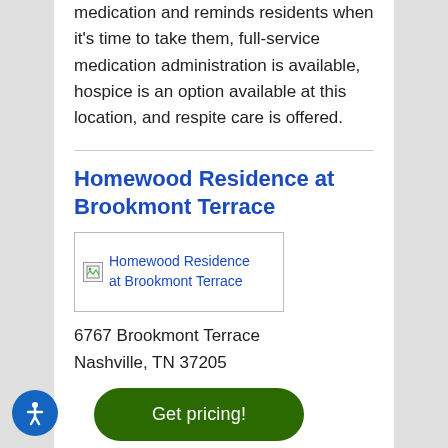medication and reminds residents when it's time to take them, full-service medication administration is available, hospice is an option available at this location, and respite care is offered.
Homewood Residence at Brookmont Terrace
[Figure (photo): Broken image placeholder for Homewood Residence at Brookmont Terrace]
6767 Brookmont Terrace Nashville, TN 37205
Get pricing!
This pet friendly community...